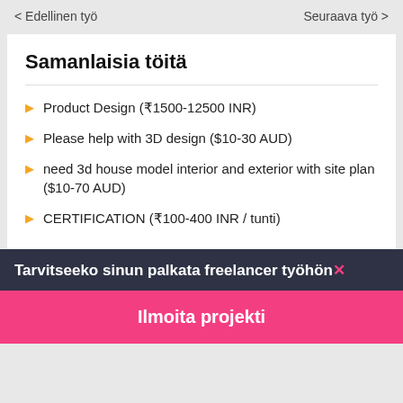< Edellinen työ    Seuraava työ >
Samanlaisia töitä
Product Design (₹1500-12500 INR)
Please help with 3D design ($10-30 AUD)
need 3d house model interior and exterior with site plan ($10-70 AUD)
CERTIFICATION (₹100-400 INR / tunti)
Tarvitseeko sinun palkata freelancer työhön✕
Ilmoita projekti